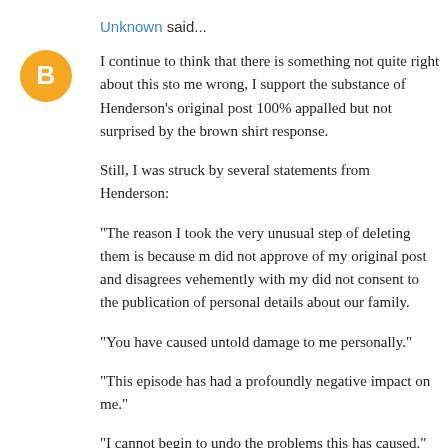Unknown said...
[Figure (logo): Orange circle with white Blogger 'B' icon]
I continue to think that there is something not quite right about this sto me wrong, I support the substance of Henderson's original post 100% appalled but not surprised by the brown shirt response.
Still, I was struck by several statements from Henderson:
"The reason I took the very unusual step of deleting them is because m did not approve of my original post and disagrees vehemently with my did not consent to the publication of personal details about our family.
"You have caused untold damage to me personally."
"This episode has had a profoundly negative impact on me."
"I cannot begin to undo the problems this has caused."
". . . and the consequences are devastating for me personally."